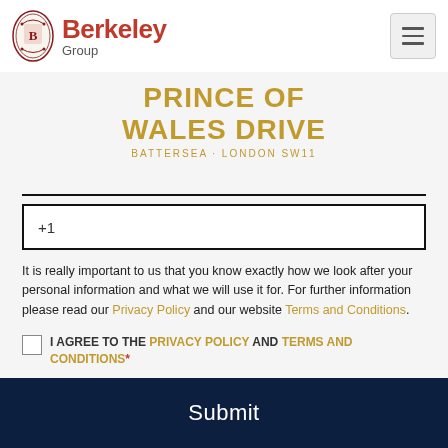[Figure (logo): Berkeley Group logo with crest and red Berkeley text]
PRINCE OF WALES DRIVE
BATTERSEA · LONDON SW11
+1
It is really important to us that you know exactly how we look after your personal information and what we will use it for. For further information please read our Privacy Policy and our website Terms and Conditions.
I AGREE TO THE PRIVACY POLICY AND TERMS AND CONDITIONS*
Submit